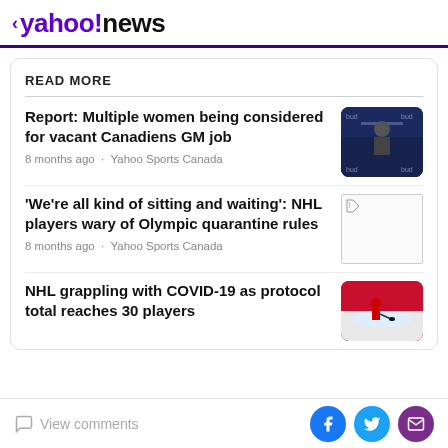< yahoo!news
READ MORE
Report: Multiple women being considered for vacant Canadiens GM job
8 months ago · Yahoo Sports Canada
'We're all kind of sitting and waiting': NHL players wary of Olympic quarantine rules
8 months ago · Yahoo Sports Canada
NHL grappling with COVID-19 as protocol total reaches 30 players
View comments